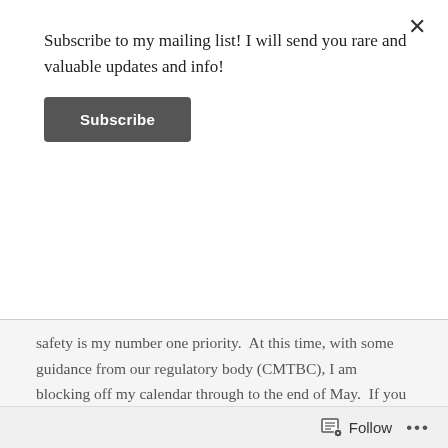Subscribe to my mailing list! I will send you rare and valuable updates and info!
Subscribe
safety is my number one priority.  At this time, with some guidance from our regulatory body (CMTBC), I am blocking off my calendar through to the end of May.  If you are interested in reading the notices that are sent to all RMTs, they can be found on the CMTBC website https://www.cmtbc.ca/about-cmtbc/covid-19-information-for-registrants/#question.
So at least until the end of May, I will not be able to do my work as a manual therapist.  Which brings me to my question at the top of this message...How are you doing?  What would you like
Follow